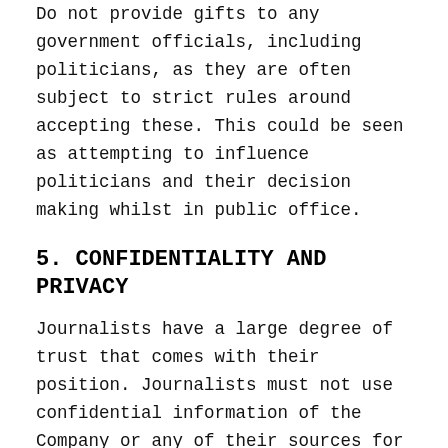Do not provide gifts to any government officials, including politicians, as they are often subject to strict rules around accepting these. This could be seen as attempting to influence politicians and their decision making whilst in public office.
5. CONFIDENTIALITY AND PRIVACY
Journalists have a large degree of trust that comes with their position. Journalists must not use confidential information of the Company or any of their sources for personal gain, or share it outside of the Company, without authorisation from the Company Director.